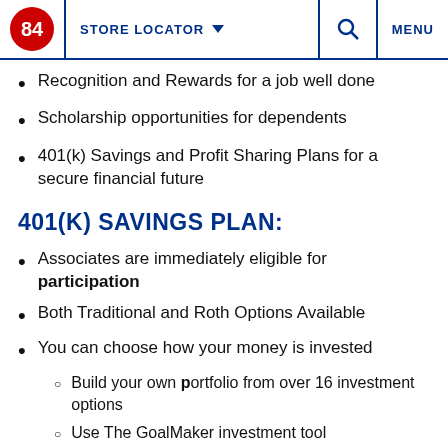84 | STORE LOCATOR | MENU
Recognition and Rewards for a job well done
Scholarship opportunities for dependents
401(k) Savings and Profit Sharing Plans for a secure financial future
401(K) SAVINGS PLAN:
Associates are immediately eligible for participation
Both Traditional and Roth Options Available
You can choose how your money is invested
Build your own portfolio from over 16 investment options
Use The GoalMaker investment tool
Use Target Date Funds